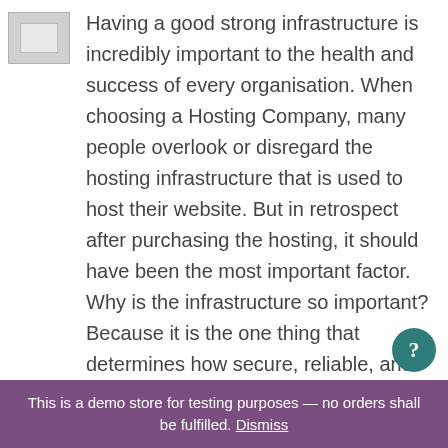[Figure (other): Small thumbnail image placeholder in top-left corner, gray rectangle]
Having a good strong infrastructure is incredibly important to the health and success of every organisation. When choosing a Hosting Company, many people overlook or disregard the hosting infrastructure that is used to host their website. But in retrospect after purchasing the hosting, it should have been the most important factor. Why is the infrastructure so important? Because it is the one thing that determines how secure, reliable, and fast your website functions. We have our very own dedicated servers running within Data
This is a demo store for testing purposes — no orders shall be fulfilled. Dismiss